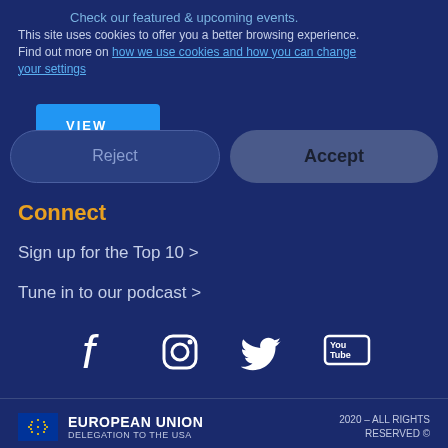Check our featured & upcoming events.
This site uses cookies to offer you a better browsing experience. Find out more on how we use cookies and how you can change your settings
VIEW EVENTS
Reject
Accept
Connect
Sign up for the Top 10 >
Tune in to our podcast >
[Figure (illustration): Social media icons: Facebook, Instagram, Twitter, YouTube]
EUROPEAN UNION DELEGATION TO THE USA | 2020 - ALL RIGHTS RESERVED ©